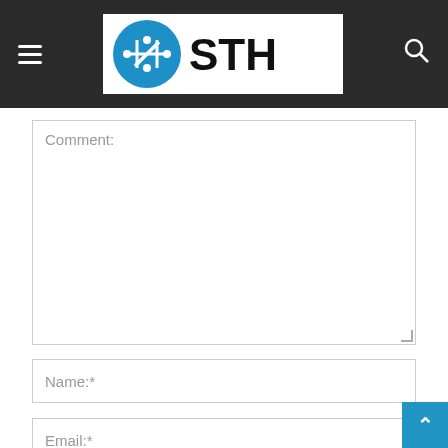[Figure (logo): STH (ServeTheHome) website header with dark background, hamburger menu icon on left, STH circuit board logo in center, search icon on right]
Comment:
Name:*
Email:*
Website:
Save my name, email, and website in this browser for the next